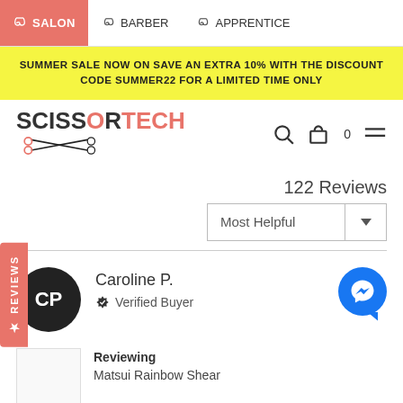SALON  BARBER  APPRENTICE
SUMMER SALE NOW ON SAVE AN EXTRA 10% WITH THE DISCOUNT CODE SUMMER22 FOR A LIMITED TIME ONLY
[Figure (logo): ScissorTech logo with scissors graphic]
122 Reviews
Most Helpful
Caroline P.
Verified Buyer
Reviewing
Matsui Rainbow Shear